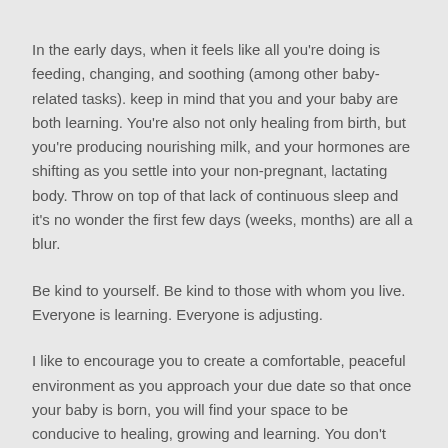In the early days, when it feels like all you're doing is feeding, changing, and soothing (among other baby-related tasks). keep in mind that you and your baby are both learning. You're also not only healing from birth, but you're producing nourishing milk, and your hormones are shifting as you settle into your non-pregnant, lactating body. Throw on top of that lack of continuous sleep and it's no wonder the first few days (weeks, months) are all a blur.
Be kind to yourself. Be kind to those with whom you live. Everyone is learning. Everyone is adjusting.
I like to encourage you to create a comfortable, peaceful environment as you approach your due date so that once your baby is born, you will find your space to be conducive to healing, growing and learning. You don't want to put it off for once your baby is here, as you may not feel like tending to those details.